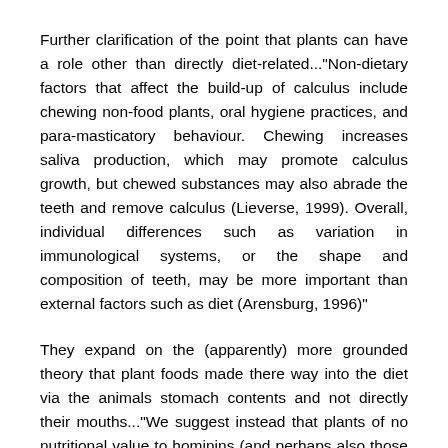Further clarification of the point that plants can have a role other than directly diet-related..."Non-dietary factors that affect the build-up of calculus include chewing non-food plants, oral hygiene practices, and para-masticatory behaviour. Chewing increases saliva production, which may promote calculus growth, but chewed substances may also abrade the teeth and remove calculus (Lieverse, 1999). Overall, individual differences such as variation in immunological systems, or the shape and composition of teeth, may be more important than external factors such as diet (Arensburg, 1996)"
They expand on the (apparently) more grounded theory that plant foods made there way into the diet via the animals stomach contents and not directly their mouths..."We suggest instead that plants of no nutritional value to hominins (and perhaps also those that needed processing to be rendered edible) could have been ingested indirectly via the consumption of the stomach contents of herbivorous prey (chyme). This is not the first time it has been suggested that Neanderthals may have consumed the stomachs of their prey (Sneth, 2019; Sneth...